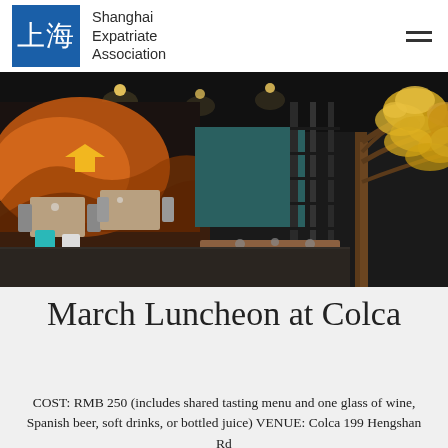Shanghai Expatriate Association
[Figure (photo): Interior of Colca restaurant showing modern dining room with dramatic orange/amber wave mural on wall, teal upholstered seating, modern chairs, tables set for dining, and a prominent decorative tree with golden yellow foliage on the right side. Warm ambient lighting.]
March Luncheon at Colca
COST: RMB 250 (includes shared tasting menu and one glass of wine, Spanish beer, soft drinks, or bottled juice) VENUE: Colca 199 Hengshan Rd